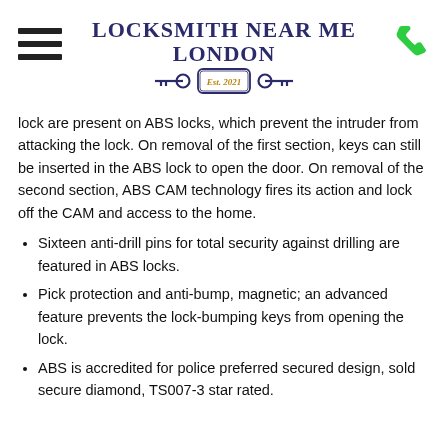LOCKSMITH NEAR ME LONDON Est. 2021
lock are present on ABS locks, which prevent the intruder from attacking the lock. On removal of the first section, keys can still be inserted in the ABS lock to open the door. On removal of the second section, ABS CAM technology fires its action and lock off the CAM and access to the home.
Sixteen anti-drill pins for total security against drilling are featured in ABS locks.
Pick protection and anti-bump, magnetic; an advanced feature prevents the lock-bumping keys from opening the lock.
ABS is accredited for police preferred secured design, sold secure diamond, TS007-3 star rated.